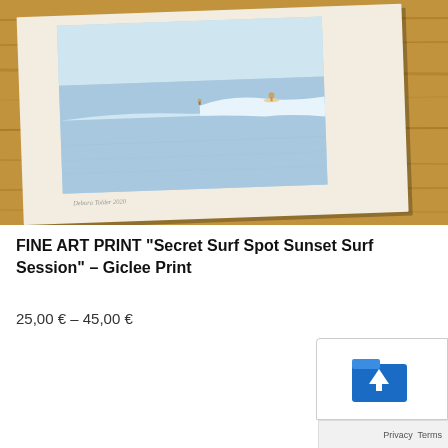[Figure (photo): A framed fine art print of a surf scene — a light blue ocean with gentle waves, two small figures surfing, displayed on a wooden surface. The print has a cream/white mat border around the image. A handwritten signature is visible at the bottom left of the print.]
FINE ART PRINT "Secret Surf Spot Sunset Surf Session" – Giclee Print
25,00 € – 45,00 €